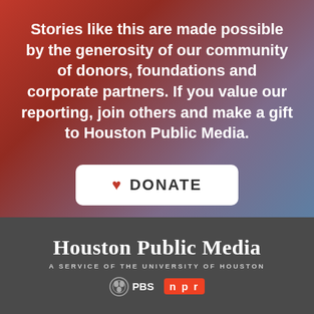Stories like this are made possible by the generosity of our community of donors, foundations and corporate partners. If you value our reporting, join others and make a gift to Houston Public Media.
[Figure (infographic): White rounded rectangle button with a red heart icon and bold text 'DONATE']
Houston Public Media
A SERVICE OF THE UNIVERSITY OF HOUSTON
[Figure (logo): PBS logo (circle with eye design) and NPR logo (red rounded rectangle with 'npr' text)]